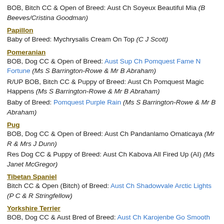BOB, Bitch CC & Open of Breed: Aust Ch Soyeux Beautiful Mia (B Beeves/Cristina Goodman)
Papillon
Baby of Breed: Mychrysalis Cream On Top (C J Scott)
Pomeranian
BOB, Dog CC & Open of Breed: Aust Sup Ch Pomquest Fame N Fortune (Ms S Barrington-Rowe & Mr B Abraham)
R/UP BOB, Bitch CC & Puppy of Breed: Aust Ch Pomquest Magic Happens (Ms S Barrington-Rowe & Mr B Abraham)
Baby of Breed: Pomquest Purple Rain (Ms S Barrington-Rowe & Mr B Abraham)
Pug
BOB, Dog CC & Open of Breed: Aust Ch Pandanlamo Omaticaya (Mr R & Mrs J Dunn)
Res Dog CC & Puppy of Breed: Aust Ch Kabova All Fired Up (AI) (Ms Janet McGregor)
Tibetan Spaniel
Bitch CC & Open (Bitch) of Breed: Aust Ch Shadowvale Arctic Lights (P C & R Stringfellow)
Yorkshire Terrier
BOB, Dog CC & Aust Bred of Breed: Aust Ch Karojenbe Go Smooth